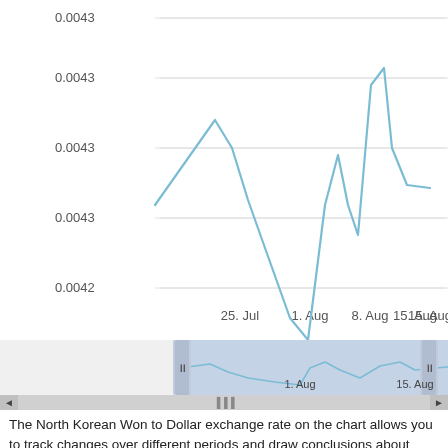[Figure (continuous-plot): Line chart showing North Korean Won to Dollar exchange rate from approximately July 22 to August 18. Y-axis shows values around 0.0042 to 0.0043. X-axis labels: 25. Jul, 1. Aug, 8. Aug, 15. Aug. The line rises to ~0.00432 around July 25, dips to ~0.00423 around Aug 1, rises sharply to ~0.00434 around Aug 8, then falls back. Below the main chart is a navigator/range selector with a highlighted region and scroll controls.]
The North Korean Won to Dollar exchange rate on the chart allows you to track changes over different periods and draw conclusions about possible forecasts of the exchange rate of one currency in relation to another.